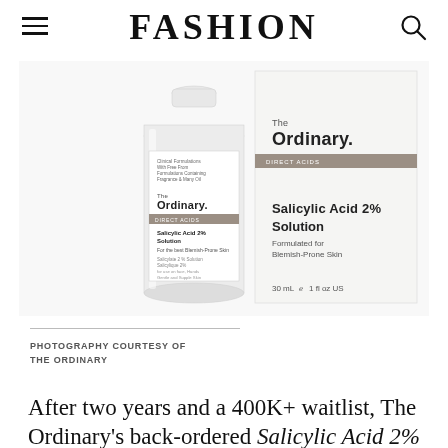FASHION
[Figure (photo): The Ordinary Salicylic Acid 2% Solution bottle and product box. The bottle is a clear glass round bottle with white label showing 'The Ordinary.' branding. The box is white with taupe/brown band labeled 'DIRECT ACIDS' and text 'Salicylic Acid 2% Solution, Formulated for Blemish-Prone Skin, 30 mL 1 fl oz US'.]
PHOTOGRAPHY COURTESY OF THE ORDINARY
After two years and a 400K+ waitlist, The Ordinary's back-ordered Salicylic Acid 2%